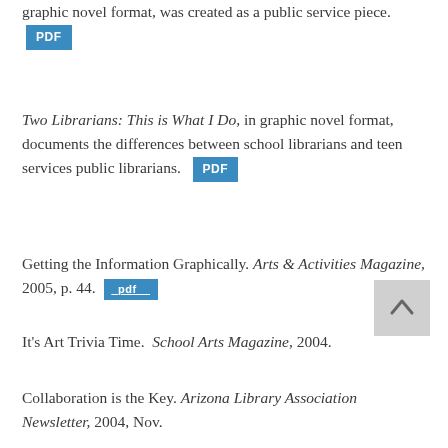graphic novel format, was created as a public service piece. [PDF]
Two Librarians: This is What I Do, in graphic novel format, documents the differences between school librarians and teen services public librarians. [PDF]
Getting the Information Graphically. Arts & Activities Magazine, 2005, p. 44. [pdf]
It's Art Trivia Time. School Arts Magazine, 2004.
Collaboration is the Key. Arizona Library Association Newsletter, 2004, Nov.